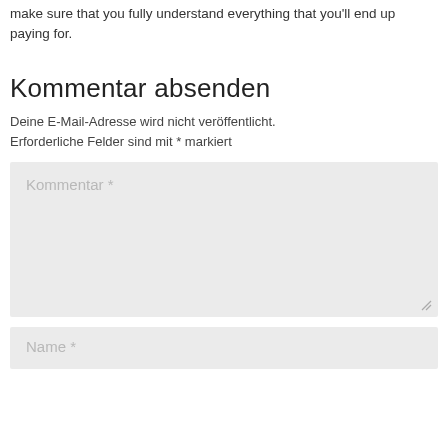make sure that you fully understand everything that you'll end up paying for.
Kommentar absenden
Deine E-Mail-Adresse wird nicht veröffentlicht. Erforderliche Felder sind mit * markiert
Kommentar *
Name *